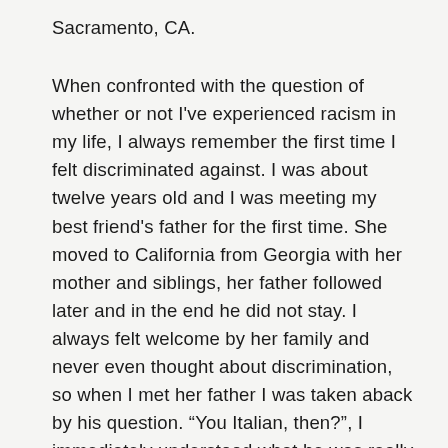Sacramento, CA.
When confronted with the question of whether or not I've experienced racism in my life, I always remember the first time I felt discriminated against. I was about twelve years old and I was meeting my best friend's father for the first time. She moved to California from Georgia with her mother and siblings, her father followed later and in the end he did not stay. I always felt welcome by her family and never even thought about discrimination, so when I met her father I was taken aback by his question. “You Italian, then?”, I immediately understood what he was really asking. I answered “No, I’m Hispanic” but quickly felt the need to validate myself so I offered up the fact that I come from Native American ancestry as well. I suppose I felt the